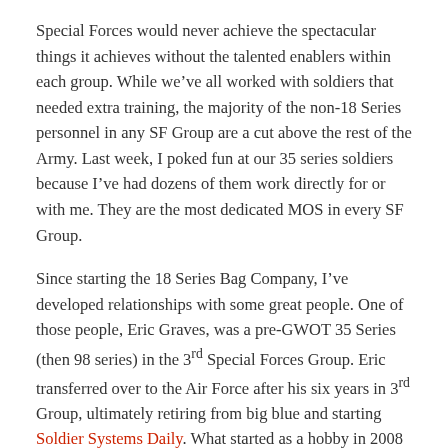Special Forces would never achieve the spectacular things it achieves without the talented enablers within each group. While we’ve all worked with soldiers that needed extra training, the majority of the non-18 Series personnel in any SF Group are a cut above the rest of the Army. Last week, I poked fun at our 35 series soldiers because I’ve had dozens of them work directly for or with me. They are the most dedicated MOS in every SF Group.
Since starting the 18 Series Bag Company, I’ve developed relationships with some great people. One of those people, Eric Graves, was a pre-GWOT 35 Series (then 98 series) in the 3rd Special Forces Group. Eric transferred over to the Air Force after his six years in 3rd Group, ultimately retiring from big blue and starting Soldier Systems Daily. What started as a hobby in 2008 became a real business